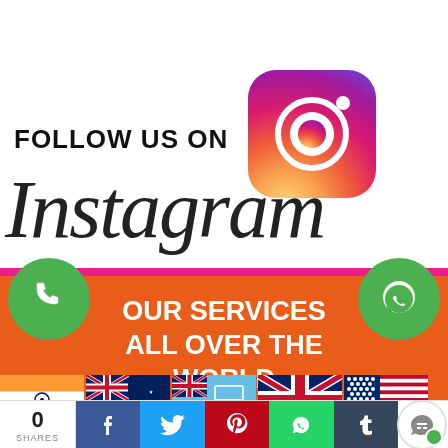[Figure (logo): Instagram logo with gradient background (purple to pink to orange) and camera icon, with 'FOLLOW US ON' text to its left]
[Figure (logo): Instagram wordmark in cursive/script font in black]
[Figure (infographic): Orange banner with 'OUR SERVICES ALL OVER THE WORLD' in white bold text, flanked by green phone and WhatsApp circles, with national flags (India, Australia, Fiji, UK, USA) below]
[Figure (infographic): Social media share bar with 0 shares, Facebook, Twitter, Pinterest, WhatsApp, Tumblr icons and chat bubble]